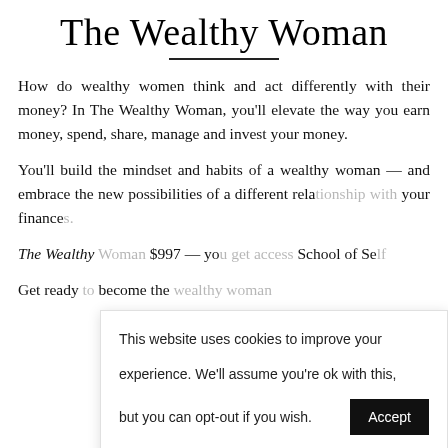The Wealthy Woman
How do wealthy women think and act differently with their money? In The Wealthy Woman, you'll elevate the way you earn money, spend, share, manage and invest your money.
You'll build the mindset and habits of a wealthy woman — and embrace the new possibilities of a different rela[tionship with] your finance[s].
The Wealthy [Woman is] $997 — yo[u get access at the] School of Se[lf...]
Get ready [to] become the [wealthy woman...]
Cookie banner: This website uses cookies to improve your experience. We'll assume you're ok with this, but you can opt-out if you wish. [Accept] [Reject] [Read More]